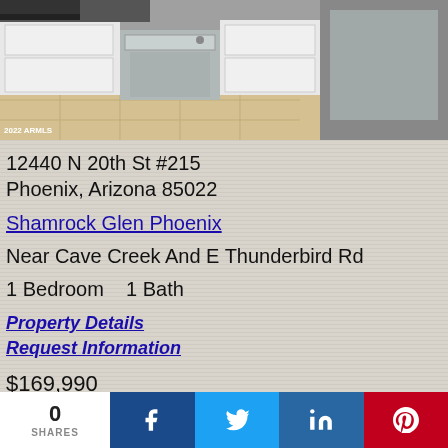[Figure (photo): Kitchen interior showing stainless steel dishwasher, white cabinets, and tile floor. Watermark reads '2022 ARMLS']
12440 N 20th St #215
Phoenix, Arizona 85022
Shamrock Glen Phoenix
Near Cave Creek And E Thunderbird Rd
1 Bedroom   1 Bath
Property Details
Request Information
$169,990
0 SHARES